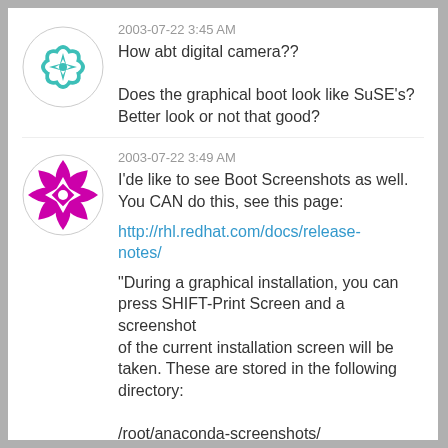[Figure (illustration): Teal geometric mandala-style circular avatar with star/flower pattern]
2003-07-22 3:45 AM
How abt digital camera??

Does the graphical boot look like SuSE's? Better look or not that good?
[Figure (illustration): Purple/magenta geometric mandala-style circular avatar with diamond/petal pattern]
2003-07-22 3:49 AM
I'de like to see Boot Screenshots as well. You CAN do this, see this page:

http://rhl.redhat.com/docs/release-notes/

"During a graphical installation, you can press SHIFT-Print Screen and a screenshot of the current installation screen will be taken. These are stored in the following directory:

/root/anaconda-screenshots/

The screenshots can be accessed once the newly-installed system is rebooted."